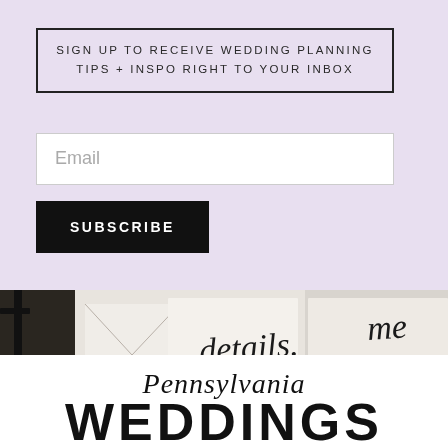SIGN UP TO RECEIVE WEDDING PLANNING TIPS + INSPO RIGHT TO YOUR INBOX
Email
SUBSCRIBE
[Figure (photo): Photo of wedding invitation stationery with envelopes and cards showing cursive script text 'details.' and partial cursive text, with dark lampstand in foreground, on a light neutral background]
Pennsylvania WEDDINGS